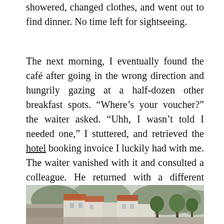showered, changed clothes, and went out to find dinner. No time left for sightseeing.
The next morning, I eventually found the café after going in the wrong direction and hungrily gazing at a half-dozen other breakfast spots. “Where’s your voucher?” the waiter asked. “Uhh, I wasn’t told I needed one,” I stuttered, and retrieved the hotel booking invoice I luckily had with me. The waiter vanished with it and consulted a colleague. He returned with a different menu with fewer choices. I ate a passable breakfast and headed off to walk the city walls.
[Figure (photo): Outdoor photograph showing white stone buildings with red/terracotta rooftops and green trees/vegetation, appearing to be a Mediterranean or Croatian town scene, likely Dubrovnik.]